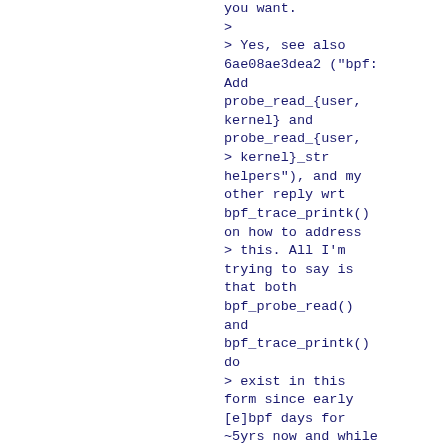you want.
>
> Yes, see also 6ae08ae3dea2 ("bpf: Add probe_read_{user, kernel} and probe_read_{user,
> kernel}_str helpers"), and my other reply wrt bpf_trace_printk() on how to address
> this. All I'm trying to say is that both bpf_probe_read() and bpf_trace_printk() do
> exist in this form since early [e]bpf days for ~5yrs now and while broken on non-x86
> there are a lot of users on x86 for this in the wild, so they need to have a chance